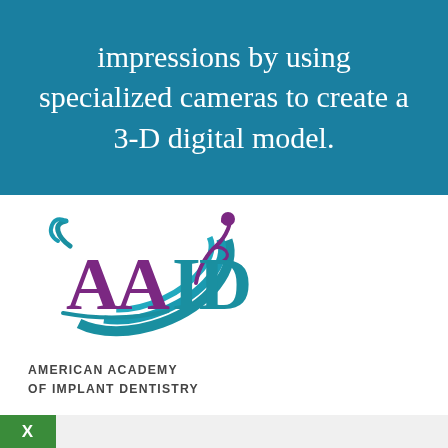impressions by using specialized cameras to create a 3-D digital model.
[Figure (logo): American Academy of Implant Dentistry (AAID) logo with teal swoosh arcs and purple stylized figure/letters, with text AMERICAN ACADEMY OF IMPLANT DENTISTRY below]
[Figure (infographic): Green footer bar with X button and three blue action buttons showing location pin icon, calendar icon, and phone icon, plus a dark scroll-to-top button]